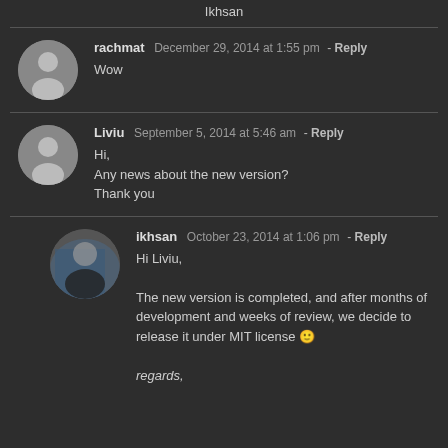Ikhsan
rachmat  December 29, 2014 at 1:55 pm - Reply
Wow
Liviu  September 5, 2014 at 5:46 am - Reply
Hi,
Any news about the new version?
Thank you
ikhsan  October 23, 2014 at 1:06 pm - Reply
Hi Liviu,
The new version is completed, and after months of development and weeks of review, we decide to release it under MIT license 🙂
regards,